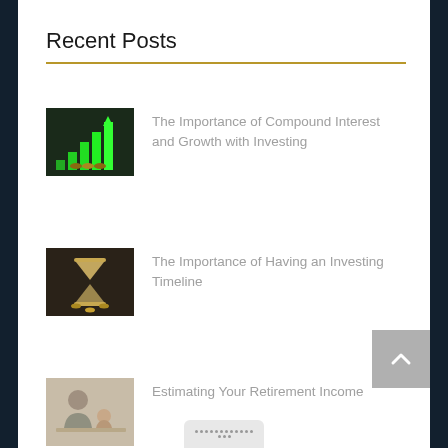Recent Posts
The Importance of Compound Interest and Growth with Investing
The Importance of Having an Investing Timeline
Estimating Your Retirement Income